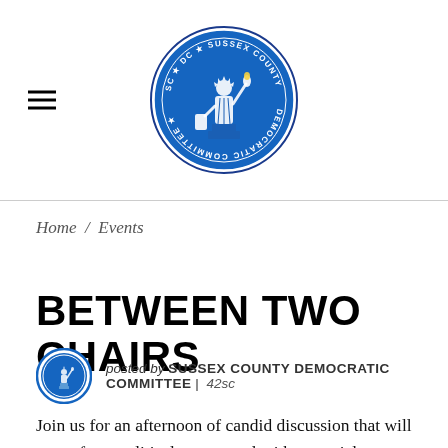[Figure (logo): Sussex County Democratic Committee circular logo with Statue of Liberty in blue]
Home / Events
BETWEEN TWO CHAIRS
posted by SUSSEX COUNTY DEMOCRATIC COMMITTEE | 42sc
Join us for an afternoon of candid discussion that will range from political to personal with a special guest from the 5th district for the first Between Two Chairs. To kick off our exciting new in conversation series, there will be no fee to attend this one-time only. Cash